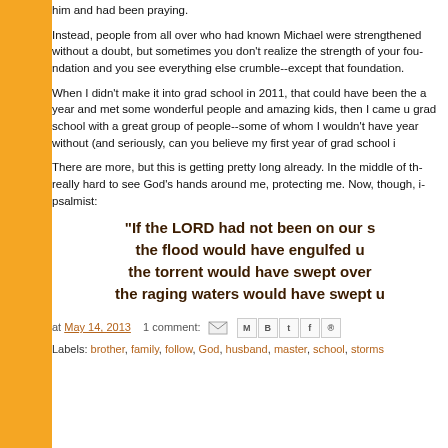him and had been praying.
Instead, people from all over who had known Michael were strengthened without a doubt, but sometimes you don't realize the strength of your foundation and you see everything else crumble--except that foundation.
When I didn't make it into grad school in 2011, that could have been the end. I took a year and met some wonderful people and amazing kids, then I came up and started grad school with a great group of people--some of whom I wouldn't have made it through that year without (and seriously, can you believe my first year of grad school is almost over?).
There are more, but this is getting pretty long already. In the middle of these things, it's really hard to see God's hands around me, protecting me. Now, though, I can say with the psalmist:
"If the LORD had not been on our s... the flood would have engulfed u... the torrent would have swept over... the raging waters would have swept u...
at May 14, 2013   1 comment:   [icons]
Labels: brother, family, follow, God, husband, master, school, storms